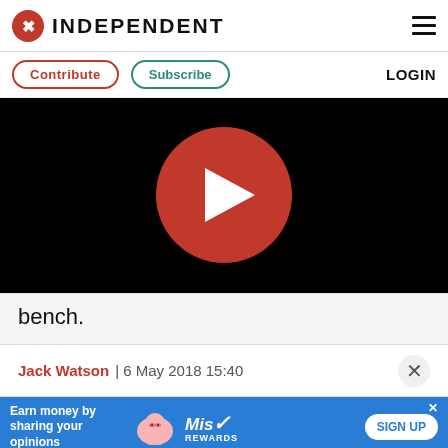INDEPENDENT
Contribute | Subscribe | LOGIN
[Figure (screenshot): Video player with black background and large red circular play button in center]
bench.
Jack Watson | 6 May 2018 15:40
[Figure (infographic): Advertisement banner: Earn money by sharing your opinions - MissRewards SIGN UP]